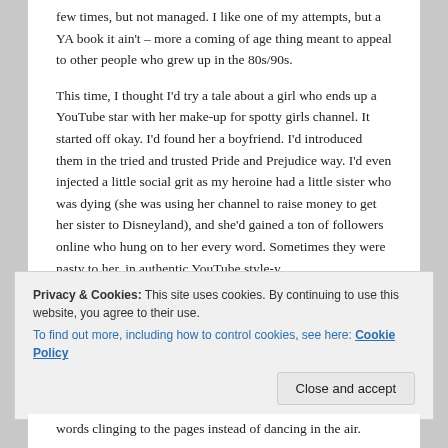few times, but not managed. I like one of my attempts, but a YA book it ain't – more a coming of age thing meant to appeal to other people who grew up in the 80s/90s.
This time, I thought I'd try a tale about a girl who ends up a YouTube star with her make-up for spotty girls channel. It started off okay. I'd found her a boyfriend. I'd introduced them in the tried and trusted Pride and Prejudice way. I'd even injected a little social grit as my heroine had a little sister who was dying (she was using her channel to raise money to get her sister to Disneyland), and she'd gained a ton of followers online who hung on to her every word. Sometimes they were nasty to her, in authentic YouTube style-y.
Privacy & Cookies: This site uses cookies. By continuing to use this website, you agree to their use.
To find out more, including how to control cookies, see here: Cookie Policy
Close and accept
words clinging to the pages instead of dancing in the air.